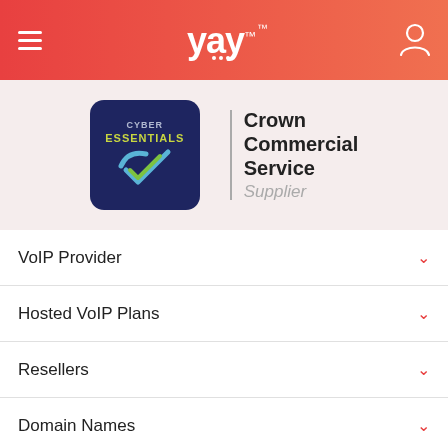yay — navigation header with hamburger menu and user icon
[Figure (logo): Cyber Essentials badge — dark navy square with rounded corners, 'CYBER ESSENTIALS' text and a blue/green checkmark]
[Figure (logo): Crown Commercial Service Supplier logo — vertical bar divider followed by text 'Crown Commercial Service' bold and 'Supplier' in grey italic]
VoIP Provider
Hosted VoIP Plans
Resellers
Domain Names
Help & Contact
Login / Register